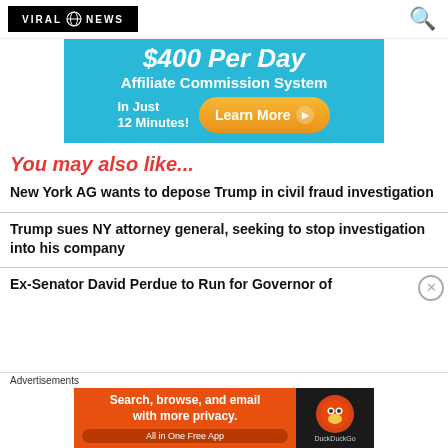Viral News Today
[Figure (other): Advertisement banner: $400 Per Day Affiliate Commission System - In Just 12 Minutes! Learn More button]
You may also like...
New York AG wants to depose Trump in civil fraud investigation
Trump sues NY attorney general, seeking to stop investigation into his company
Ex-Senator David Perdue to Run for Governor of
[Figure (other): DuckDuckGo advertisement: Search, browse, and email with more privacy. All in One Free App]